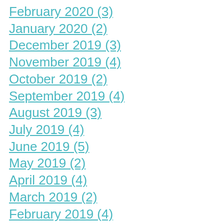February 2020 (3)
January 2020 (2)
December 2019 (3)
November 2019 (4)
October 2019 (2)
September 2019 (4)
August 2019 (3)
July 2019 (4)
June 2019 (5)
May 2019 (2)
April 2019 (4)
March 2019 (2)
February 2019 (4)
January 2019 (4)
December 2018 (2)